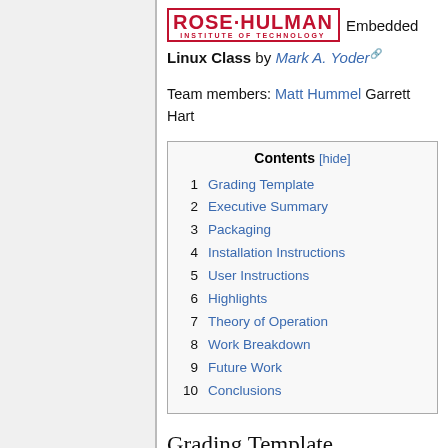ROSE-HULMAN Embedded Linux Class by Mark A. Yoder
Team members: Matt Hummel Garrett Hart
| # | Contents |
| --- | --- |
| 1 | Grading Template |
| 2 | Executive Summary |
| 3 | Packaging |
| 4 | Installation Instructions |
| 5 | User Instructions |
| 6 | Highlights |
| 7 | Theory of Operation |
| 8 | Work Breakdown |
| 9 | Future Work |
| 10 | Conclusions |
Grading Template